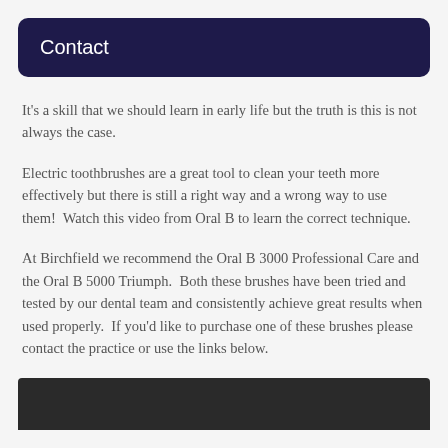Contact
It's a skill that we should learn in early life but the truth is this is not always the case.
Electric toothbrushes are a great tool to clean your teeth more effectively but there is still a right way and a wrong way to use them!  Watch this video from Oral B to learn the correct technique.
At Birchfield we recommend the Oral B 3000 Professional Care and the Oral B 5000 Triumph.  Both these brushes have been tried and tested by our dental team and consistently achieve great results when used properly.  If you'd like to purchase one of these brushes please contact the practice or use the links below.
[Figure (screenshot): Black rectangle representing a video embed area at the bottom of the page]